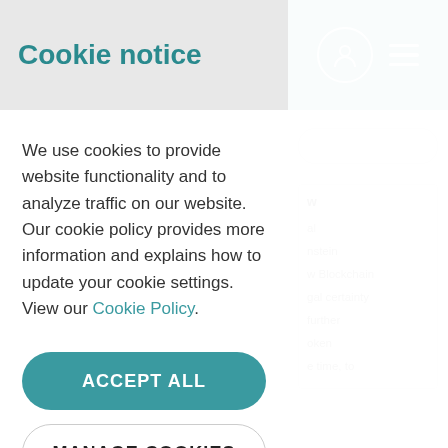Cookie notice
We use cookies to provide website functionality and to analyze traffic on our website. Our cookie policy provides more information and explains how to update your cookie settings. View our Cookie Policy.
ACCEPT ALL
MANAGE COOKIES